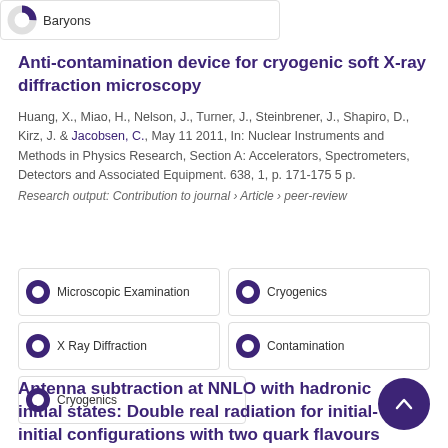[Figure (donut-chart): Donut chart icon showing ~50% fill, labeled Baryons]
Anti-contamination device for cryogenic soft X-ray diffraction microscopy
Huang, X., Miao, H., Nelson, J., Turner, J., Steinbrener, J., Shapiro, D., Kirz, J. & Jacobsen, C., May 11 2011, In: Nuclear Instruments and Methods in Physics Research, Section A: Accelerators, Spectrometers, Detectors and Associated Equipment. 638, 1, p. 171-175 5 p.
Research output: Contribution to journal › Article › peer-review
[Figure (donut-chart): Donut chart icon 100% fill, labeled Microscopic Examination]
[Figure (donut-chart): Donut chart icon 100% fill, labeled Cryogenics]
[Figure (donut-chart): Donut chart icon 100% fill, labeled X Ray Diffraction]
[Figure (donut-chart): Donut chart icon 100% fill, labeled Contamination]
[Figure (donut-chart): Donut chart icon 100% fill, labeled Cryogenics]
Antenna subtraction at NNLO with hadronic initial states: Double real radiation for initial-initial configurations with two quark flavours